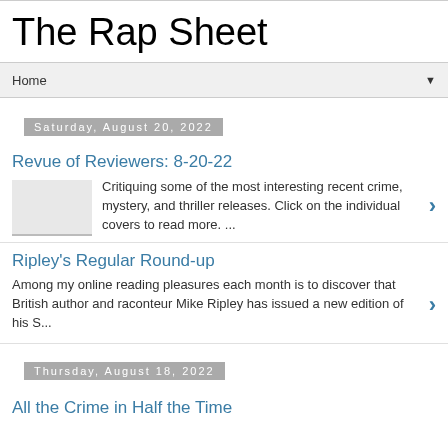The Rap Sheet
Home
Saturday, August 20, 2022
Revue of Reviewers: 8-20-22
Critiquing some of the most interesting recent crime, mystery, and thriller releases. Click on the individual covers to read more. ...
Ripley's Regular Round-up
Among my online reading pleasures each month is to discover that British author and raconteur Mike Ripley has issued a new edition of his S...
Thursday, August 18, 2022
All the Crime in Half the Time